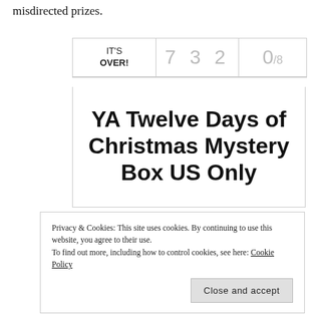misdirected prizes.
| IT'S OVER! | 7 3 2 | 0/8 |
| --- | --- | --- |
YA Twelve Days of Christmas Mystery Box US Only
Privacy & Cookies: This site uses cookies. By continuing to use this website, you agree to their use.
To find out more, including how to control cookies, see here: Cookie Policy